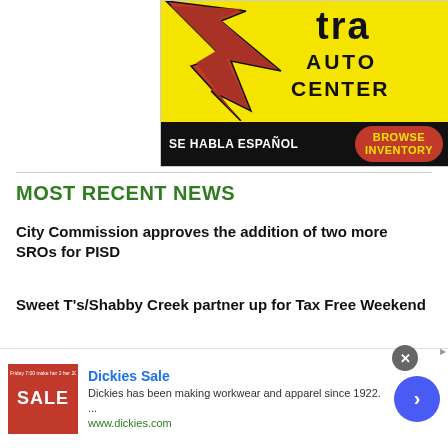[Figure (advertisement): Auto Center advertisement with yellow background, red star logo, black text 'AUTO CENTER', black bottom bar with 'SE HABLA ESPAÑOL' and red rounded button 'BROWSE INVENTORY']
MOST RECENT NEWS
City Commission approves the addition of two more SROs for PISD
Sweet T's/Shabby Creek partner up for Tax Free Weekend
[Figure (advertisement): Dickies Sale ad banner with red SALE image, Dickies Sale title in blue, description 'Dickies has been making workwear and apparel since 1922.', url www.dickies.com, close button and forward arrow button]